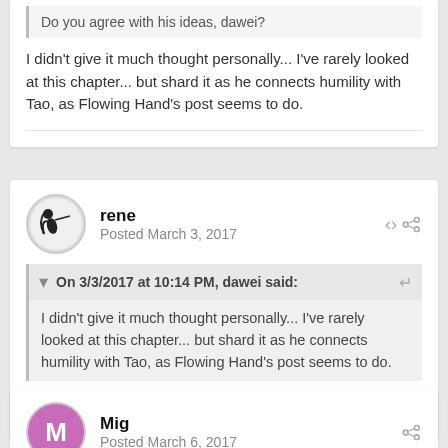Do you agree with his ideas, dawei?
I didn't give it much thought personally... I've rarely looked at this chapter... but shard it as he connects humility with Tao, as Flowing Hand's post seems to do.
rene
Posted March 3, 2017
On 3/3/2017 at 10:14 PM, dawei said:
I didn't give it much thought personally... I've rarely looked at this chapter... but shard it as he connects humility with Tao, as Flowing Hand's post seems to do.
Oh, okay, thanks! 🙂
Mig
Posted March 6, 2017